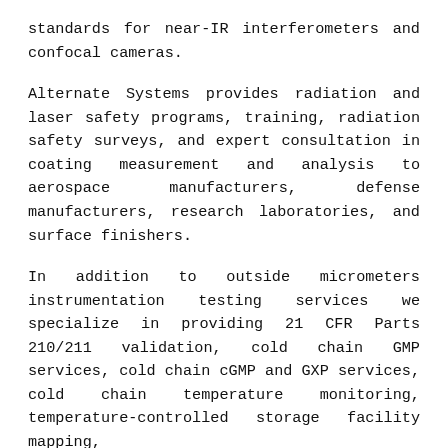standards for near-IR interferometers and confocal cameras.
Alternate Systems provides radiation and laser safety programs, training, radiation safety surveys, and expert consultation in coating measurement and analysis to aerospace manufacturers, defense manufacturers, research laboratories, and surface finishers.
In addition to outside micrometers instrumentation testing services we specialize in providing 21 CFR Parts 210/211 validation, cold chain GMP services, cold chain cGMP and GXP services, cold chain temperature monitoring, temperature-controlled storage facility mapping,